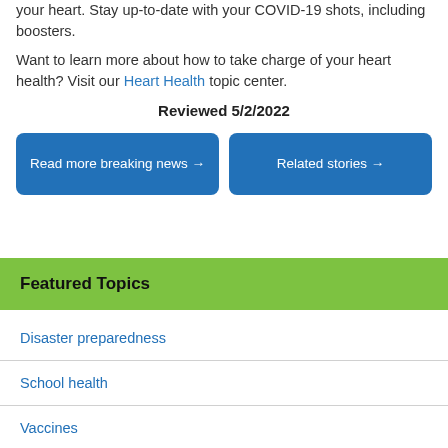your heart. Stay up-to-date with your COVID-19 shots, including boosters.
Want to learn more about how to take charge of your heart health? Visit our Heart Health topic center.
Reviewed 5/2/2022
Read more breaking news
Related stories
Featured Topics
Disaster preparedness
School health
Vaccines